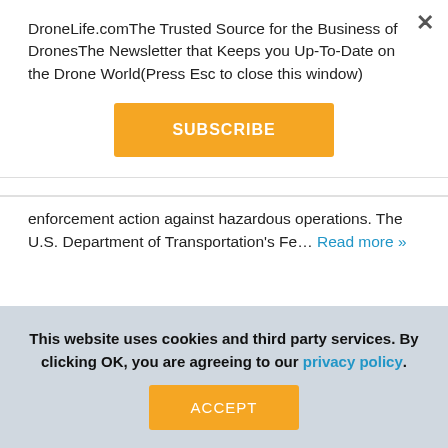DroneLife.comThe Trusted Source for the Business of DronesThe Newsletter that Keeps you Up-To-Date on the Drone World(Press Esc to close this window)
SUBSCRIBE
enforcement action against hazardous operations. The U.S. Department of Transportation's Fe... Read more »
Share 0 Tweet Share
This website uses cookies and third party services. By clicking OK, you are agreeing to our privacy policy.
ACCEPT